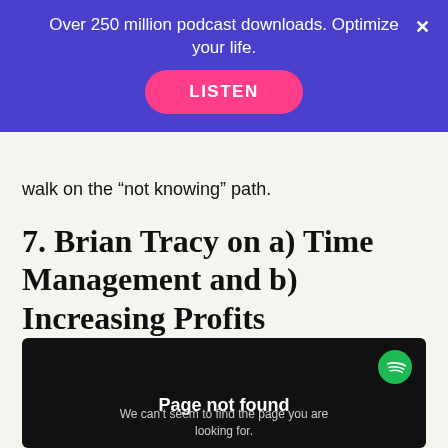[Figure (screenshot): Purple banner with text 'Over 250 million podcast downloads. Optimize your life.' and a pink 'LISTEN' button, plus an X close button]
walk on the “not knowing” path.
7. Brian Tracy on a) Time Management and b) Increasing Profits
[Figure (screenshot): Spotify embedded player showing a dark 'Page not found' error screen with Spotify logo, text 'Page not found' and 'We can’t seem to find the page you are looking for.']